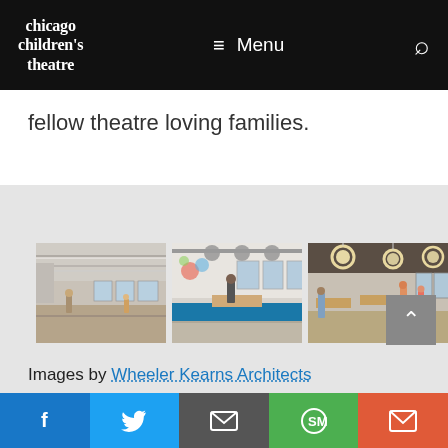chicago children's theatre — Menu (hamburger icon) — Search (magnifying glass icon)
fellow theatre loving families.
[Figure (photo): Interior photo of a large open rehearsal/lobby space with high ceilings, fluorescent lighting, windows along far wall, and a few people walking through.]
[Figure (photo): Interior photo of a classroom or activity room with colorful wall art, tables, chairs, a couch, and a person standing near the windows.]
[Figure (photo): Interior photo of a casual dining or gathering space with round pendant lights, tables, chairs, and children and adults moving around.]
Images by Wheeler Kearns Architects